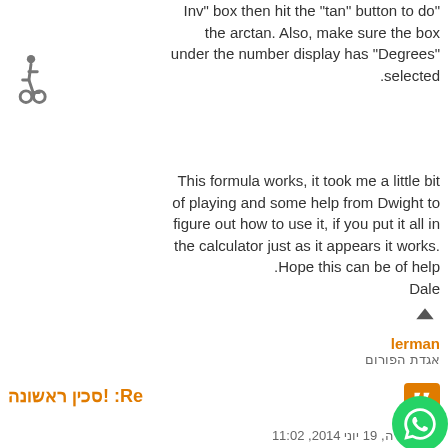Inv" box then hit the "tan" button to do" the arctan. Also, make sure the box under the number display has "Degrees" selected.
This formula works, it took me a little bit of playing and some help from Dwight to figure out how to use it, if you put it all in the calculator just as it appears it works. Hope this can be of help. Dale
lerman
אגדת הפורום
Re: !סכין ראשונה
ה', 19 יוני 2014, 11:02
ואם אתה מחוסר יכולת חישוב בסיסית כמוני